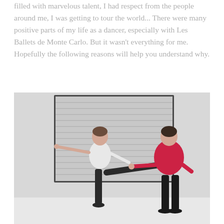filled with marvelous talent, I had respect from the people around me, I was getting to tour the world... There were many positive parts of my life as a dancer, especially with Les Ballets de Monte Carlo. But it wasn't everything for me. Hopefully the following reasons will help you understand why.
[Figure (photo): A ballet instructor wearing a red/pink sweater and black pants assists a young student in a white t-shirt and black tights with a leg extension. They are standing in front of a window with horizontal blinds in a studio or classroom setting.]